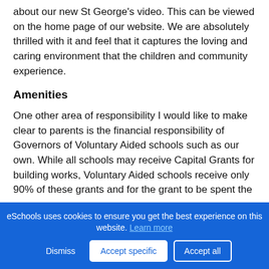about our new St George's video. This can be viewed on the home page of our website. We are absolutely thrilled with it and feel that it captures the loving and caring environment that the children and community experience.
Amenities
One other area of responsibility I would like to make clear to parents is the financial responsibility of Governors of Voluntary Aided schools such as our own. While all schools may receive Capital Grants for building works, Voluntary Aided schools receive only 90% of these grants and for the grant to be spent the Governors of the school have to raise the other 10%. We do this by
eSchools uses cookies to ensure you get the best experience on this website. Learn more
Dismiss   Accept specific   Accept all